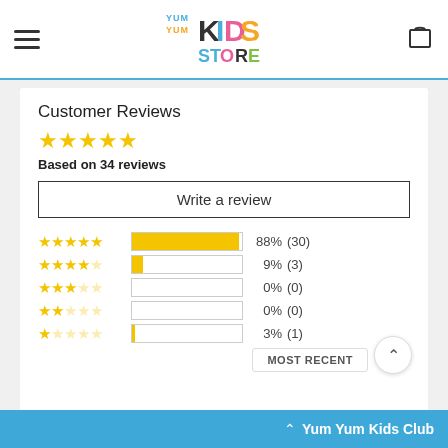Yum Yum Kids Store
Customer Reviews
Based on 34 reviews
Write a review
[Figure (bar-chart): Rating distribution]
MOST RECENT
Yum Yum Kids Club